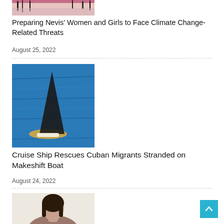[Figure (photo): Partial photo of women at top of page, cropped]
Preparing Nevis' Women and Girls to Face Climate Change-Related Threats
August 25, 2022
[Figure (photo): Photo of a makeshift boat or raft on open blue ocean water with a dark sail]
Cruise Ship Rescues Cuban Migrants Stranded on Makeshift Boat
August 24, 2022
[Figure (photo): Partial photo of a person with dark hair against a light background, cropped at bottom]